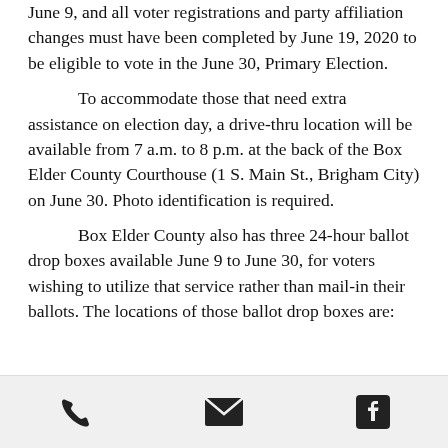June 9, and all voter registrations and party affiliation changes must have been completed by June 19, 2020 to be eligible to vote in the June 30, Primary Election.

To accommodate those that need extra assistance on election day, a drive-thru location will be available from 7 a.m. to 8 p.m. at the back of the Box Elder County Courthouse (1 S. Main St., Brigham City) on June 30. Photo identification is required.

Box Elder County also has three 24-hour ballot drop boxes available June 9 to June 30, for voters wishing to utilize that service rather than mail-in their ballots. The locations of those ballot drop boxes are:
Box Elder County Courthouse (1 S. Main...
[phone icon] [email icon] [facebook icon]